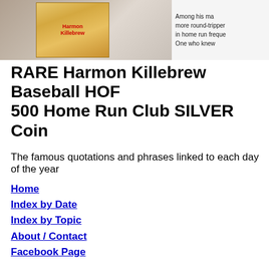[Figure (photo): Top banner image showing a Harmon Killebrew baseball card on the left side and partial text on the right side reading 'Among his ma... more round-tripper... in home run freque... One who knew']
RARE Harmon Killebrew Baseball HOF 500 Home Run Club SILVER Coin
The famous quotations and phrases linked to each day of the year
Home
Index by Date
Index by Topic
About / Contact
Facebook Page
May 17, 2022
Bird Cage Play Stand Toy Set-Birdcage Wood Stands Hanging Chew T